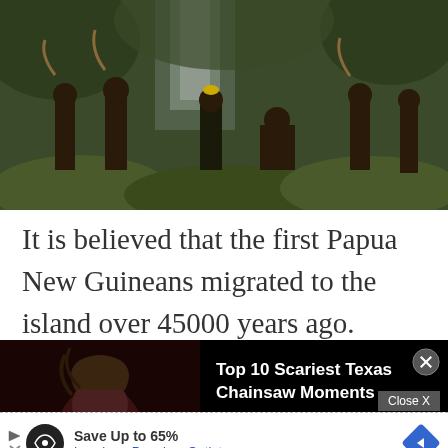[Figure (photo): Indigenous people of Papua New Guinea in traditional dress standing on mossy rocks near a waterfall in a lush green forest]
It is believed that the first Papua New Guineans migrated to the island over 45000 years ago. Today, over 3 million people, half of the heterogeneous population, live in the
[Figure (screenshot): Video player overlay ad showing 'Top 10 Scariest Texas Chainsaw Moments' with WatchMojo logo, play button, and close button (X)]
[Figure (screenshot): Bottom advertisement banner: 'Save Up to 65% Leesburg Premium Outlets' with logo and navigation arrow. Close X button visible.]